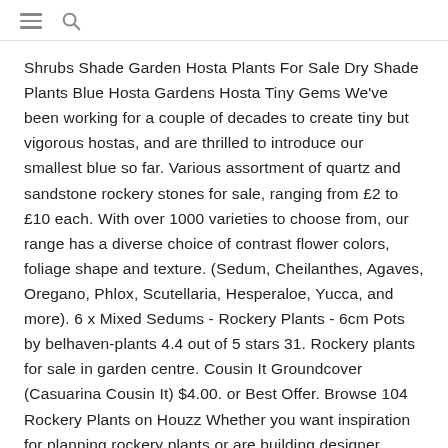≡ 🔍
Shrubs Shade Garden Hosta Plants For Sale Dry Shade Plants Blue Hosta Gardens Hosta Tiny Gems We've been working for a couple of decades to create tiny but vigorous hostas, and are thrilled to introduce our smallest blue so far. Various assortment of quartz and sandstone rockery stones for sale, ranging from £2 to £10 each. With over 1000 varieties to choose from, our range has a diverse choice of contrast flower colors, foliage shape and texture. (Sedum, Cheilanthes, Agaves, Oregano, Phlox, Scutellaria, Hesperaloe, Yucca, and more). 6 x Mixed Sedums - Rockery Plants - 6cm Pots by belhaven-plants 4.4 out of 5 stars 31. Rockery plants for sale in garden centre. Cousin It Groundcover (Casuarina Cousin It) $4.00. or Best Offer. Browse 104 Rockery Plants on Houzz Whether you want inspiration for planning rockery plants or are building designer rockery plants from scratch, Houzz has 104 pictures from the best designers, decorators, and architects in the country, including New Generation Siding and Cornerstone Home Designs. ground-covers - 1-metre-or-less-high rockery plants drought resistant plants